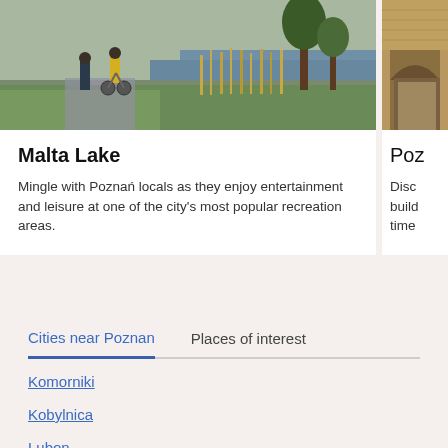[Figure (photo): People walking and cycling along a path by Malta Lake with green grass, reeds, water and trees visible]
Malta Lake
Mingle with Poznań locals as they enjoy entertainment and leisure at one of the city's most popular recreation areas.
[Figure (photo): Partial view of a historic building with arched entrance, partially cut off on the right side]
Poz
Disc build time
Cities near Poznan
Places of interest
Komorniki
Kobylnica
Lubon